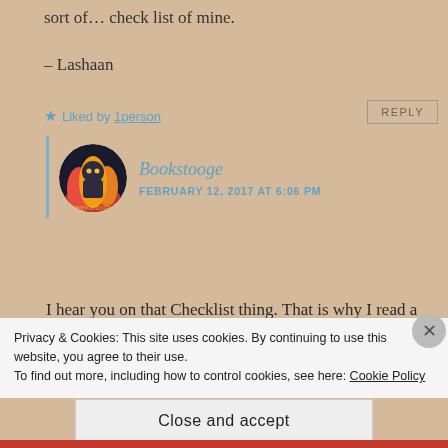sort of... check list of mine.
– Lashaan
★ Liked by 1person
REPLY
Bookstooge
FEBRUARY 12, 2017 AT 6:06 PM
I hear you on that Checklist thing. That is why I read a Maugham even though I had ZERO interest it. Just to broaden my
Privacy & Cookies: This site uses cookies. By continuing to use this website, you agree to their use.
To find out more, including how to control cookies, see here: Cookie Policy
Close and accept